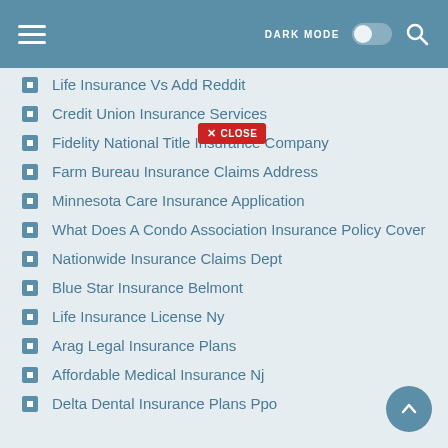DARK MODE [toggle] [search]
Life Insurance Vs Add Reddit
Credit Union Insurance Services
Fidelity National Title Insurance Company
Farm Bureau Insurance Claims Address
Minnesota Care Insurance Application
What Does A Condo Association Insurance Policy Cover
Nationwide Insurance Claims Dept
Blue Star Insurance Belmont
Life Insurance License Ny
Arag Legal Insurance Plans
Affordable Medical Insurance Nj
Delta Dental Insurance Plans Ppo